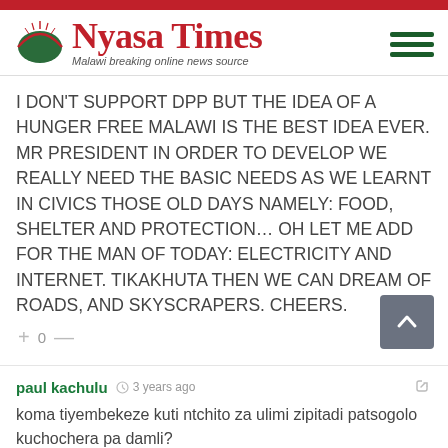[Figure (logo): Nyasa Times logo with red arc/dome icon and tagline 'Malawi breaking online news source']
I DON'T SUPPORT DPP BUT THE IDEA OF A HUNGER FREE MALAWI IS THE BEST IDEA EVER. MR PRESIDENT IN ORDER TO DEVELOP WE REALLY NEED THE BASIC NEEDS AS WE LEARNT IN CIVICS THOSE OLD DAYS NAMELY: FOOD, SHELTER AND PROTECTION… OH LET ME ADD FOR THE MAN OF TODAY: ELECTRICITY AND INTERNET. TIKAKHUTA THEN WE CAN DREAM OF ROADS, AND SKYSCRAPERS. CHEERS.
+ 0 —
paul kachulu  3 years ago
koma tiyembekeze kuti ntchito za ulimi zipitadi patsogolo kuchochera pa damli?